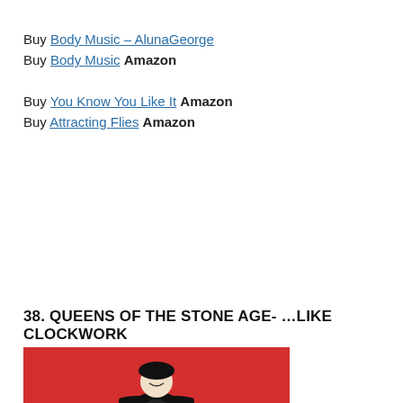Buy Body Music – AlunaGeorge
Buy Body Music Amazon
Buy You Know You Like It Amazon
Buy Attracting Flies Amazon
38. QUEENS OF THE STONE AGE- …LIKE CLOCKWORK
[Figure (photo): Album cover image for Queens of the Stone Age ...Like Clockwork, showing a figure on a red background, partially cropped at bottom of page.]